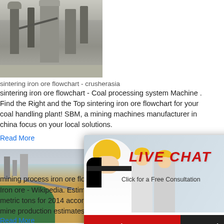[Figure (photo): Industrial sintering plant with silos and conveyor structures, grayscale industrial scene]
sintering iron ore flowchart - crusherasia
sintering iron ore flowchart - Coal processing system Machine . Find the Right and the Top sintering iron ore flowchart for your coal handling plant! SBM, a mining machines manufacturer in china focus on your local solutions.
Read More
[Figure (photo): Open pit mining scene with yellow terrain, green water pool, and industrial structures]
[Figure (screenshot): Live chat popup overlay with workers in yellow hard hats, LIVE CHAT heading, Chat now and Chat later buttons]
[Figure (photo): Right sidebar showing blue background, hour online text, crusher machine image, Click me to chat button, Enquiry section, limingjlmofen text]
mining process iron ore flow chart -
Iron ore - Wikipedia. Estimated iron ore production in metric tons for 2014 according to U.S. Geological Survey mine production estimates for China are ba...
Read More